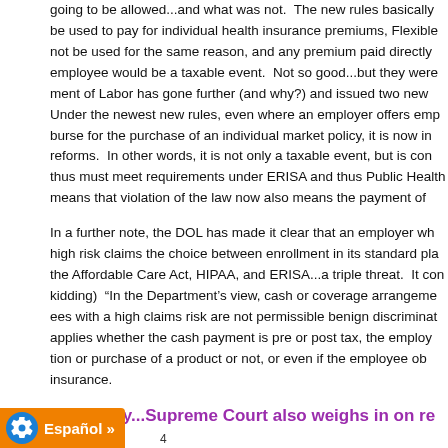going to be allowed...and what was not. The new rules basically be used to pay for individual health insurance premiums, Flexible not be used for the same reason, and any premium paid directly employee would be a taxable event. Not so good...but they were ment of Labor has gone further (and why?) and issued two new Under the newest new rules, even where an employer offers emp burse for the purchase of an individual market policy, it is now in reforms. In other words, it is not only a taxable event, but is con thus must meet requirements under ERISA and thus Public Health means that violation of the law now also means the payment of
In a further note, the DOL has made it clear that an employer wh high risk claims the choice between enrollment in its standard pla the Affordable Care Act, HIPAA, and ERISA...a triple threat. It con kidding) “In the Department’s view, cash or coverage arrangeme ees with a high claims risk are not permissible benign discriminat applies whether the cash payment is pre or post tax, the employ tion or purchase of a product or not, or even if the employee ob insurance.
...they stay busy...Supreme Court also weighs in on re
4